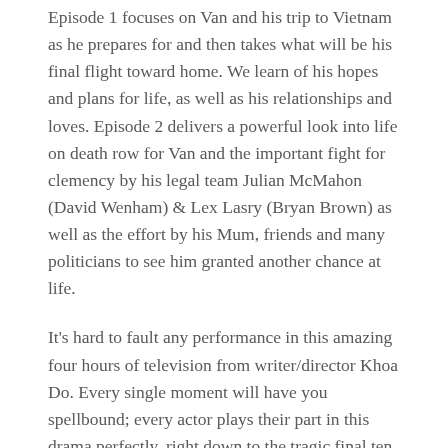Episode 1 focuses on Van and his trip to Vietnam as he prepares for and then takes what will be his final flight toward home. We learn of his hopes and plans for life, as well as his relationships and loves. Episode 2 delivers a powerful look into life on death row for Van and the important fight for clemency by his legal team Julian McMahon (David Wenham) & Lex Lasry (Bryan Brown) as well as the effort by his Mum, friends and many politicians to see him granted another chance at life.
It's hard to fault any performance in this amazing four hours of television from writer/director Khoa Do. Every single moment will have you spellbound; every actor plays their part in this drama perfectly, right down to the tragic final ten minutes.
Better Man is a brave, brutal retelling of an important time in Australia's recent history and the efforts many went to in an attempt to save one man's